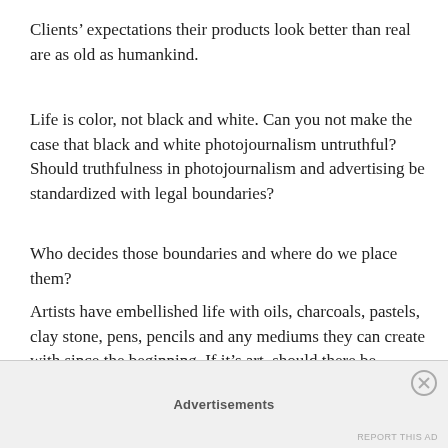Clients’ expectations their products look better than real are as old as humankind.
Life is color, not black and white. Can you not make the case that black and white photojournalism untruthful? Should truthfulness in photojournalism and advertising be standardized with legal boundaries?
Who decides those boundaries and where do we place them?
Artists have embellished life with oils, charcoals, pastels, clay stone, pens, pencils and any mediums they can create with since the beginning. If it’s art, should there be boundaries? And is art a lie?
Advertisements